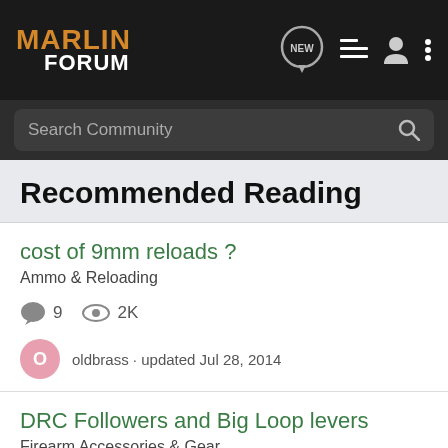MARLIN FORUM
Search Community
Recommended Reading
cost of 9mm reloads ?
Ammo & Reloading
9 replies · 2K views
oldbrass · updated Jul 28, 2014
DRC Followers and Big Loop levers
Firearm Accessories & Gear
3 replies · 3K views
JohnnylLoco · updated Jul 6, 2012